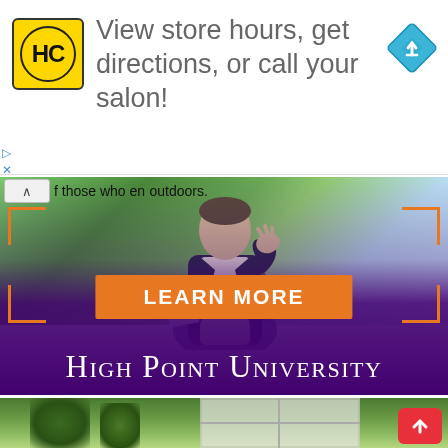[Figure (infographic): HC Hair Cuttery ad banner with yellow logo, navigation arrow icon, text: View store hours, get directions, or call your salon!]
[Figure (photo): High Point University advertisement: person in suit gesturing, landscape background, orange corner brackets, LEARN MORE button, HIGH POINT UNIVERSITY name on purple gradient]
[Figure (photo): Bottom partial photo of garden/outdoor scene with plants, window, flowers, and red scroll-to-top button with up arrow]